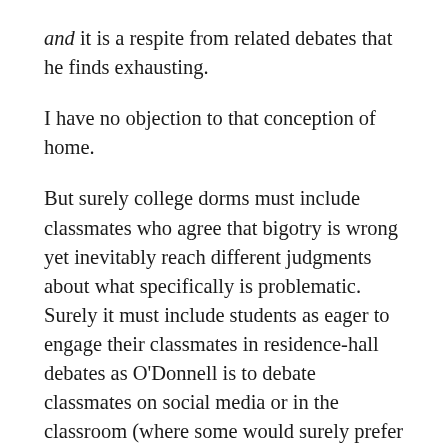and it is a respite from related debates that he finds exhausting.
I have no objection to that conception of home.
But surely college dorms must include classmates who agree that bigotry is wrong yet inevitably reach different judgments about what specifically is problematic. Surely it must include students as eager to engage their classmates in residence-hall debates as O'Donnell is to debate classmates on social media or in the classroom (where some would surely prefer a stress-free environment sans call-outs).